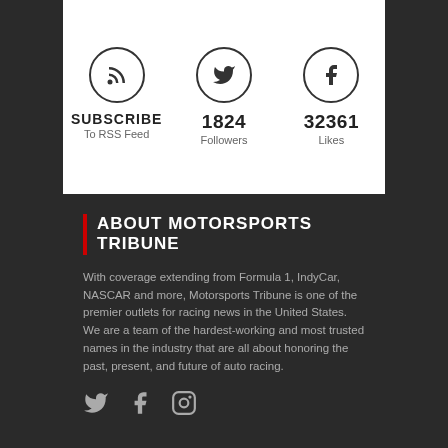[Figure (infographic): Three circular icons: RSS feed symbol, Twitter bird, Facebook 'f'. Below each: SUBSCRIBE / To RSS Feed, 1824 / Followers, 32361 / Likes]
ABOUT MOTORSPORTS TRIBUNE
With coverage extending from Formula 1, IndyCar, NASCAR and more, Motorsports Tribune is one of the premier outlets for racing news in the United States. We are a team of the hardest-working and most trusted names in the industry that are all about honoring the past, present, and future of auto racing.
[Figure (infographic): Three small social icons in a row: Twitter bird, Facebook f, Instagram camera]